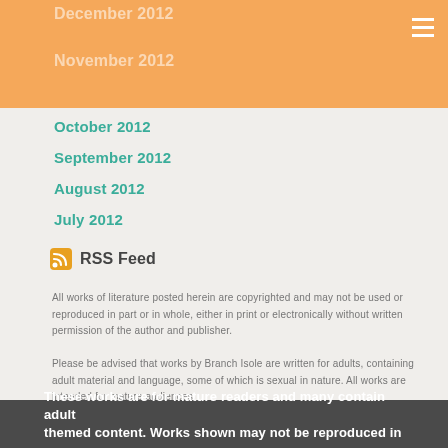December 2012
November 2012
October 2012
September 2012
August 2012
July 2012
RSS Feed
All works of literature posted herein are copyrighted and may not be used or reproduced in part or in whole, either in print or electronically without written permission of the author and publisher.
Please be advised that works by Branch Isole are written for adults, containing adult material and language, some of which is sexual in nature. All works are intended for mature audiences.
These works are for mature readers and many contain adult themed content. Works shown may not be reproduced in any